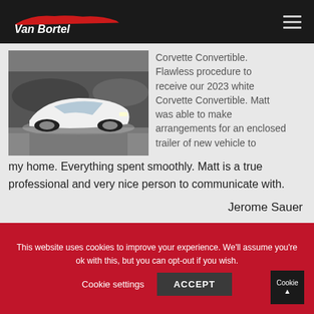Van Bortel (logo)
[Figure (photo): White Corvette Convertible parked in a showroom with other cars in the background]
Flawless procedure to receive our 2023 white Corvette Convertible. Matt was able to make arrangements for an enclosed trailer of new vehicle to my home. Everything spent smoothly. Matt is a true professional and very nice person to communicate with.
Jerome Sauer
This website uses cookies to improve your experience. We'll assume you're ok with this, but you can opt-out if you wish. Cookie settings ACCEPT